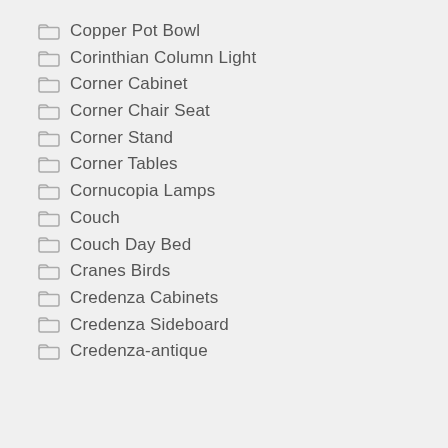Copper Pot Bowl
Corinthian Column Light
Corner Cabinet
Corner Chair Seat
Corner Stand
Corner Tables
Cornucopia Lamps
Couch
Couch Day Bed
Cranes Birds
Credenza Cabinets
Credenza Sideboard
Credenza-antique